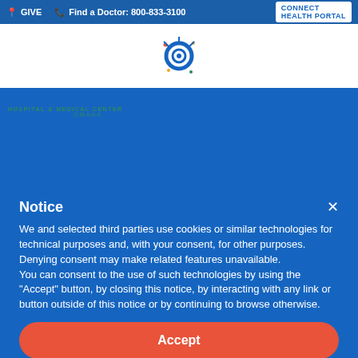GIVE   Find a Doctor: 800-833-3100   CONNECT HEALTH PORTAL
[Figure (logo): Children's Hospital & Medical Center Omaha spiral logo mark in blue, red, orange, and green]
[Figure (logo): Children's Hospital & Medical Center Omaha text logo in blue and green]
Notice
We and selected third parties use cookies or similar technologies for technical purposes and, with your consent, for other purposes. Denying consent may make related features unavailable.
You can consent to the use of such technologies by using the "Accept" button, by closing this notice, by interacting with any link or button outside of this notice or by continuing to browse otherwise.
Accept
Learn more and customize